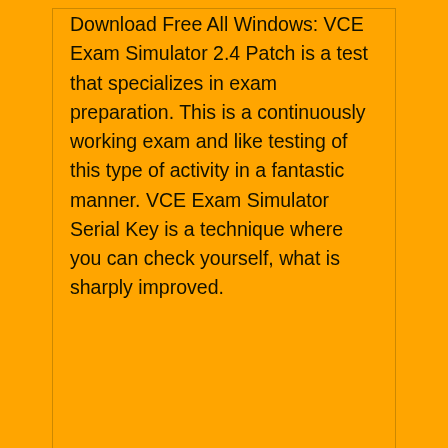Download Free All Windows: VCE Exam Simulator 2.4 Patch is a test that specializes in exam preparation. This is a continuously working exam and like testing of this type of activity in a fantastic manner. VCE Exam Simulator Serial Key is a technique where you can check yourself, what is sharply improved.
Comments are closed.
Do Unlocked Phones Work With Tmobile
Fiat Ecu Scan Keygen Crack Mac